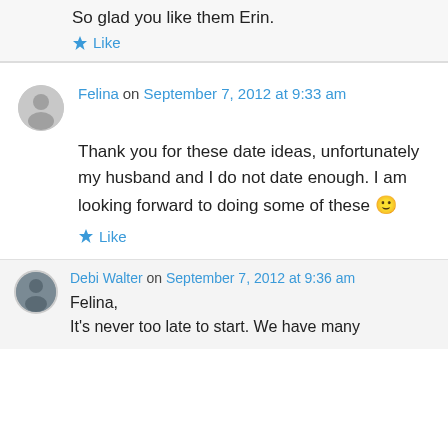So glad you like them Erin.
★ Like
Felina on September 7, 2012 at 9:33 am
Thank you for these date ideas, unfortunately my husband and I do not date enough. I am looking forward to doing some of these 🙂
★ Like
Debi Walter on September 7, 2012 at 9:36 am
Felina,
It's never too late to start. We have many